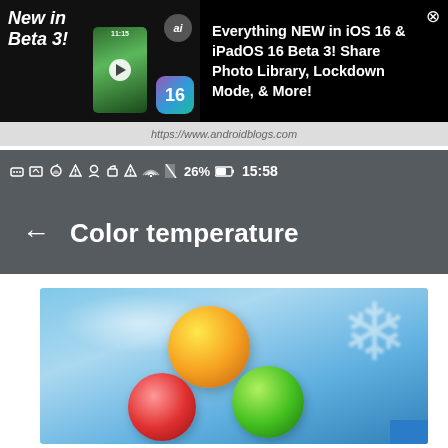[Figure (screenshot): YouTube-style video ad banner for 'Everything NEW in iOS 16 & iPadOS 16 Beta 3' with black background, phone screenshot on left, iOS 16 badge, and text on right]
Everything NEW in iOS 16 & iPadOS 16 Beta 3! Share Photo Library, Lockdown Mode, & More!
[Figure (screenshot): Android app status bar showing icons: ..., image, weather, warning, location, lock, warning, wifi, signal, 26%, battery, 15:58]
Color temperature
[Figure (photo): Color temperature illustration showing orange, green, and red glossy balls on a blue sky background with snowflake shapes on the right side]